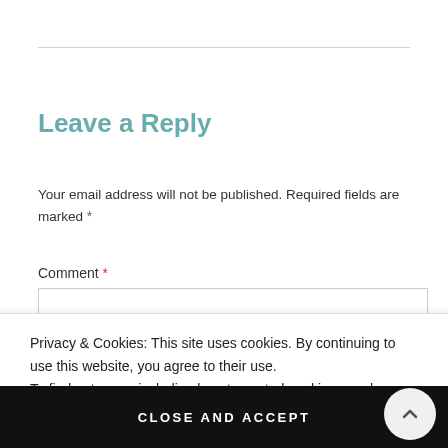Leave a Reply
Your email address will not be published. Required fields are marked *
Comment *
Privacy & Cookies: This site uses cookies. By continuing to use this website, you agree to their use.
To find out more, including how to control cookies, see here: Cookie Policy
CLOSE AND ACCEPT